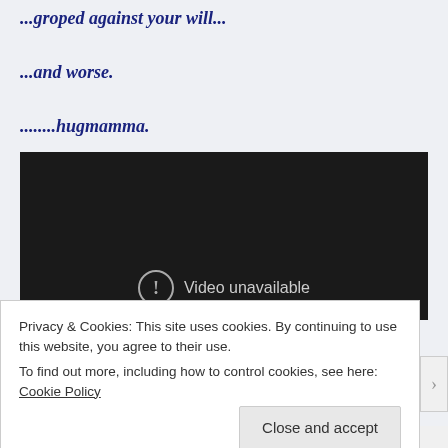...groped against your will...
...and worse.
........hugmamma.
[Figure (screenshot): Black video player area showing 'Video unavailable' message with a circle-exclamation icon]
Privacy & Cookies: This site uses cookies. By continuing to use this website, you agree to their use.
To find out more, including how to control cookies, see here: Cookie Policy
Close and accept